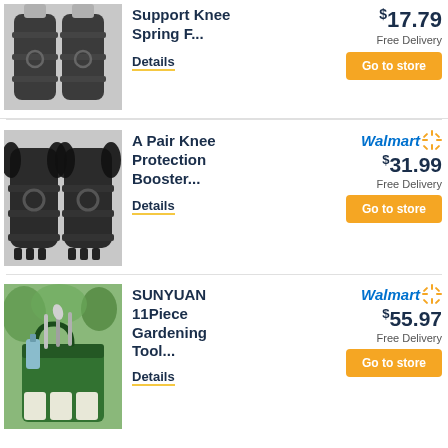[Figure (photo): Knee support spring force brace product image - pair of black knee braces on mannequin legs]
Support Knee Spring F...
Details
$17.79
Free Delivery
Go to store
[Figure (photo): A pair of black knee protection booster braces]
A Pair Knee Protection Booster...
Details
Walmart
$31.99
Free Delivery
Go to store
[Figure (photo): SUNYUAN gardening tool bag with green tote and garden tools]
SUNYUAN 11Piece Gardening Tool...
Details
Walmart
$55.97
Free Delivery
Go to store